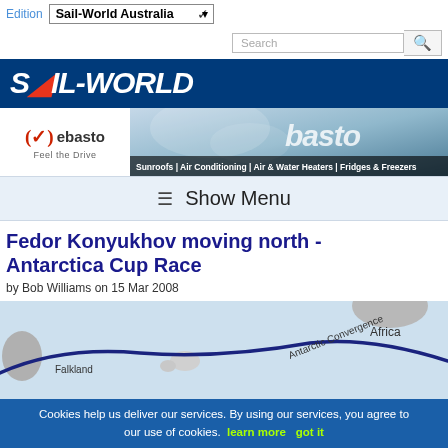Edition Sail-World Australia
[Figure (screenshot): Webasto advertisement banner with logo, tagline 'Feel the Drive', and services: Sunroofs | Air Conditioning | Air & Water Heaters | Fridges & Freezers]
≡ Show Menu
Fedor Konyukhov moving north - Antarctica Cup Race
by Bob Williams on 15 Mar 2008
[Figure (map): Map showing Antarctic Convergence route line near Falkland Islands with Africa labeled, dark blue curved route line on light blue ocean background]
Cookies help us deliver our services. By using our services, you agree to our use of cookies. learn more   got it